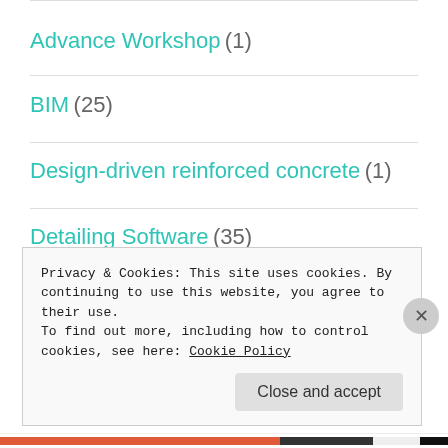Advance Workshop (1)
BIM (25)
Design-driven reinforced concrete (1)
Detailing Software (35)
Events (107)
FAQs (3)
Privacy & Cookies: This site uses cookies. By continuing to use this website, you agree to their use.
To find out more, including how to control cookies, see here: Cookie Policy
Close and accept